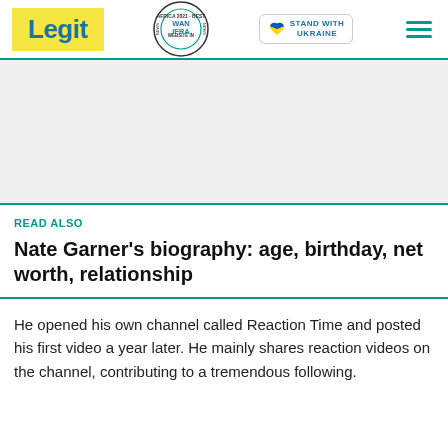Legit | WAN IFRA 2021 Best News Website in Africa | Stand with Ukraine
[Figure (other): Advertisement placeholder area (gray background)]
READ ALSO
Nate Garner's biography: age, birthday, net worth, relationship
He opened his own channel called Reaction Time and posted his first video a year later. He mainly shares reaction videos on the channel, contributing to a tremendous following.